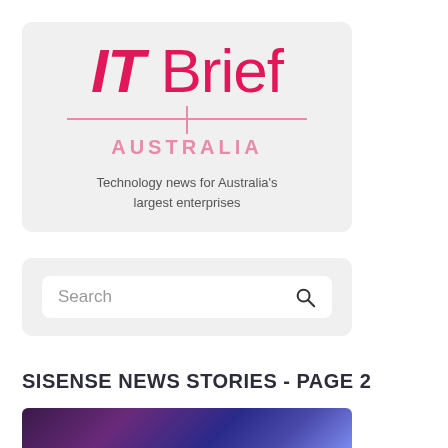[Figure (logo): IT Brief Australia logo with tagline 'Technology news for Australia's largest enterprises' on a light grey card]
[Figure (screenshot): Search bar with placeholder text 'Search' and a search icon, on a light grey card]
SISENSE NEWS STORIES - PAGE 2
[Figure (photo): Article thumbnail with dark purple to blue gradient background, partially visible at bottom of page]